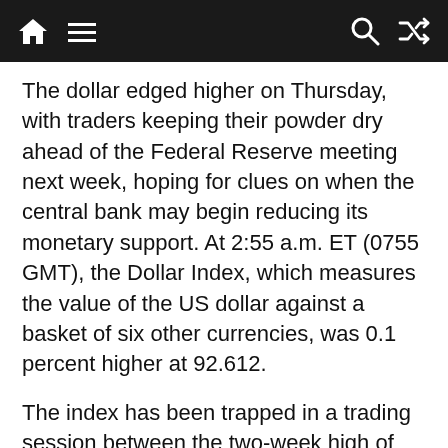Navigation bar with home, menu, search, and shuffle icons
The dollar edged higher on Thursday, with traders keeping their powder dry ahead of the Federal Reserve meeting next week, hoping for clues on when the central bank may begin reducing its monetary support. At 2:55 a.m. ET (0755 GMT), the Dollar Index, which measures the value of the US dollar against a basket of six other currencies, was 0.1 percent higher at 92.612.
The index has been trapped in a trading session between the two-week high of 92.887 at the start of the week and Tuesday's one-week low of 92.321 following a weaker-than-expected inflation report. Despite dismal car registration numbers for August, USD/JPY was unchanged at 109.36, while EUR/USD was down by 0.2 percent to 1.1795. Risk-